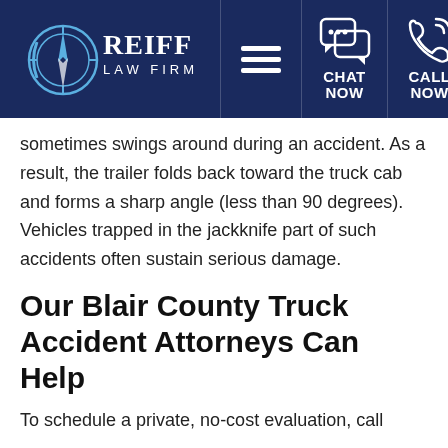[Figure (logo): Reiff Law Firm logo with compass design on dark navy header bar, alongside hamburger menu icon, chat now icon, and call now icon]
sometimes swings around during an accident. As a result, the trailer folds back toward the truck cab and forms a sharp angle (less than 90 degrees). Vehicles trapped in the jackknife part of such accidents often sustain serious damage.
Our Blair County Truck Accident Attorneys Can Help
To schedule a private, no-cost evaluation, call